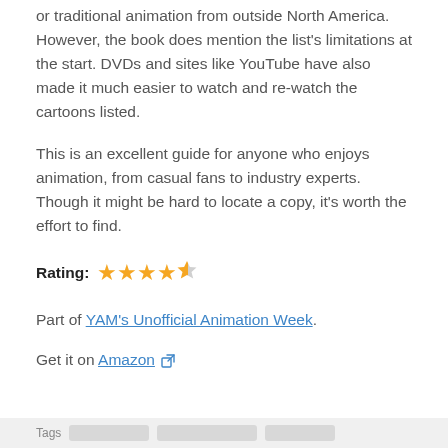or traditional animation from outside North America. However, the book does mention the list's limitations at the start. DVDs and sites like YouTube have also made it much easier to watch and re-watch the cartoons listed.
This is an excellent guide for anyone who enjoys animation, from casual fans to industry experts. Though it might be hard to locate a copy, it's worth the effort to find.
Rating: ★★★★½
Part of YAM's Unofficial Animation Week.
Get it on Amazon